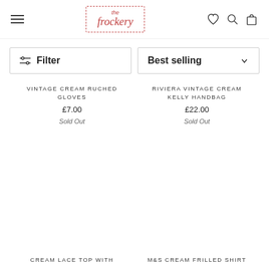[Figure (screenshot): The Frockery website header with hamburger menu, dashed-border logo, and heart/search/bag icons]
Filter
Best selling
VINTAGE CREAM RUCHED GLOVES
£7.00
Sold Out
RIVIERA VINTAGE CREAM KELLY HANDBAG
£22.00
Sold Out
CREAM LACE TOP WITH
M&S CREAM FRILLED SHIRT